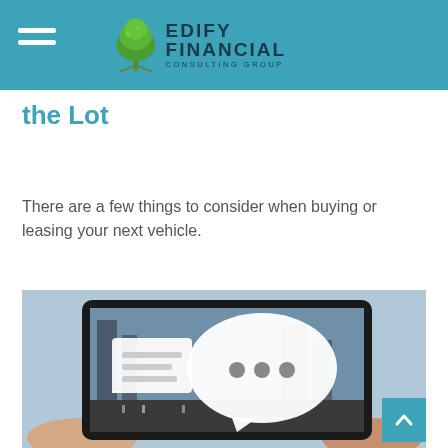Edify Financial Consulting Group
the Lot
There are a few things to consider when buying or leasing your next vehicle.
[Figure (photo): Person holding a tablet displaying a city street scene with chat/message bubble icons overlaid on screen]